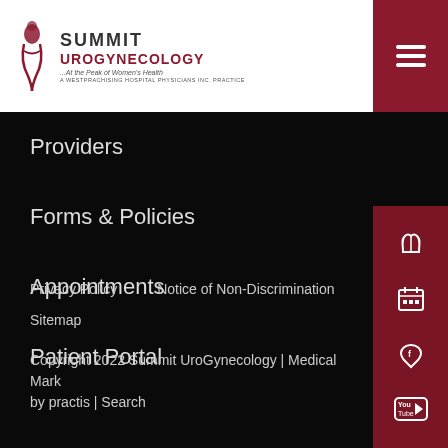[Figure (logo): Summit UroGynecology logo with decorative figure and text '...At the Peak of Women's Health']
Providers
Forms & Policies
Appointments
Patient Portal
Privacy Policy   Notice of Non-Discrimination   Sitemap
Copyright 2022 Summit UroGynecology | Medical Mark by practis | Search